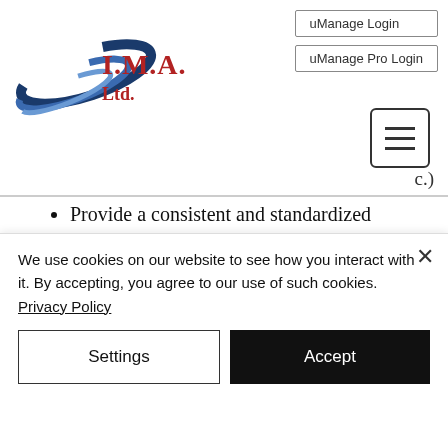[Figure (logo): I.M.A. Ltd. company logo with blue swoosh/wing graphic and red text]
uManage Login
uManage Pro Login
Provide a consistent and standardized noun, modifier, manufacturer name, and manufacturer part number
Standardize the customer provided
We use cookies on our website to see how you interact with it. By accepting, you agree to our use of such cookies. Privacy Policy
Settings
Accept